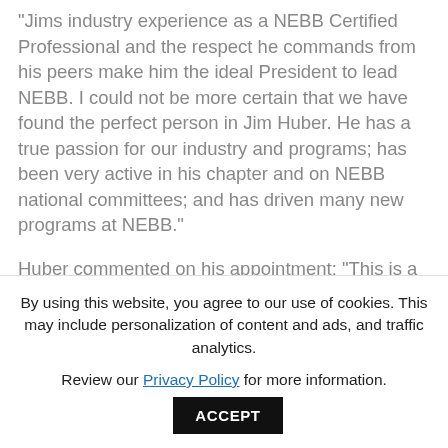"Jims industry experience as a NEBB Certified Professional and the respect he commands from his peers make him the ideal President to lead NEBB. I could not be more certain that we have found the perfect person in Jim Huber. He has a true passion for our industry and programs; has been very active in his chapter and on NEBB national committees; and has driven many new programs at NEBB."
Huber commented on his appointment: "This is a very exciting time for NEBB, and I am honored and humbled to receive this appointment. 2015 will bring the conclusion of many long-running NEBB initiatives as well as the beginning of several new ones. It gives me great pride to build upon the work of my predecessors, Bob Linder and Steve Flint, here delivering on Boards for...
By using this website, you agree to our use of cookies. This may include personalization of content and ads, and traffic analytics.
Review our Privacy Policy for more information.